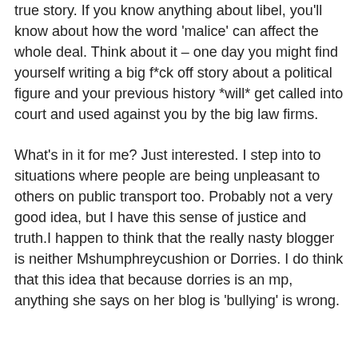true story. If you know anything about libel, you'll know about how the word 'malice' can affect the whole deal. Think about it – one day you might find yourself writing a big f*ck off story about a political figure and your previous history *will* get called into court and used against you by the big law firms.
What's in it for me? Just interested. I step into to situations where people are being unpleasant to others on public transport too. Probably not a very good idea, but I have this sense of justice and truth.I happen to think that the really nasty blogger is neither Mshumphreycushion or Dorries. I do think that this idea that because dorries is an mp, anything she says on her blog is 'bullying' is wrong.